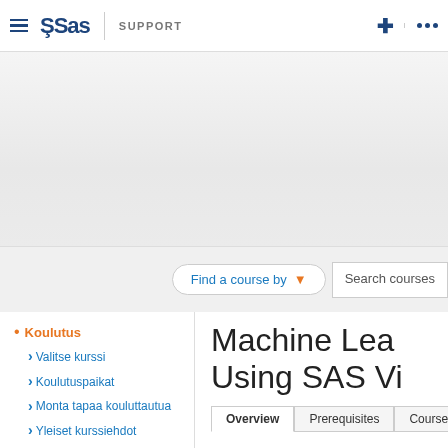SAS SUPPORT
[Figure (screenshot): Gray banner area for SAS Support website hero section]
Find a course by ▾   Search courses
• Koulutus
› Valitse kurssi
› Koulutuspaikat
› Monta tapaa kouluttautua
› Yleiset kurssiehdot
› Sertifiointi
• SAS Books
Machine Learning Using SAS Vi…